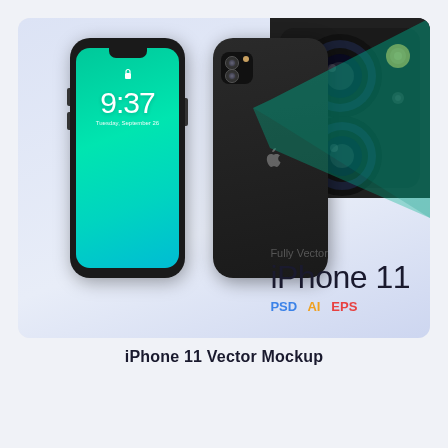[Figure (illustration): iPhone 11 vector mockup showing front view (green gradient lock screen with 9:37 time), back view (black), and camera closeup with dual lenses. Teal beam connects back phone to camera closeup. Text overlay: 'Fully Vector', 'iPhone 11', 'PSD AI EPS'.]
iPhone 11 Vector Mockup